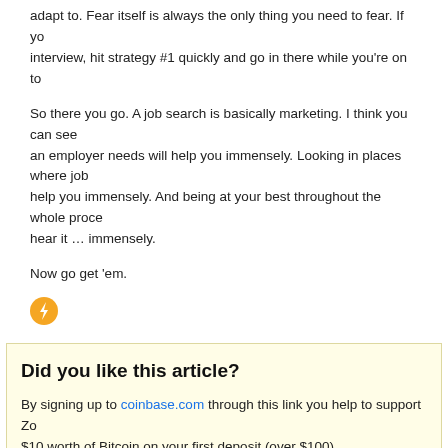Anything about the job that doesn't appeal to you is something you need to adapt to. Fear itself is always the only thing you need to fear. If you interview, hit strategy #1 quickly and go in there while you're on to
So there you go. A job search is basically marketing. I think you can see an employer needs will help you immensely. Looking in places where job help you immensely. And being at your best throughout the whole process hear it … immensely.
Now go get 'em.
[Figure (logo): Orange circular icon with a white lightning bolt or arrow symbol]
Did you like this article?
By signing up to coinbase.com through this link you help to support Zo $10 worth of Bitcoin on your first deposit (over $100).
Coinbase is one of the most popular and trusted exchange to the world where you can buy, sell, and exchange Bitco